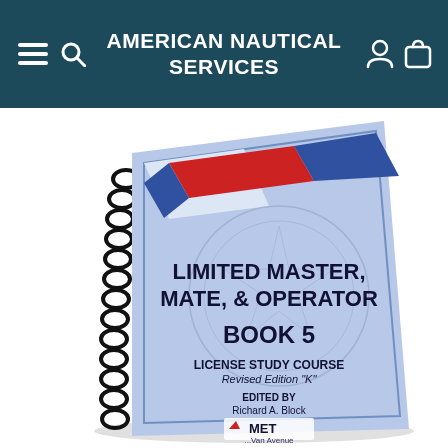AMERICAN NAUTICAL SERVICES
[Figure (photo): A spiral-bound book with a blue cover titled 'Limited Master, Mate, & Operator Book 5 - License Study Course, Revised Edition K, Edited by Richard A. Block', published by MET. The cover has a diagonal red and white stripe in the upper-left corner and a circular nautical watermark in the background.]